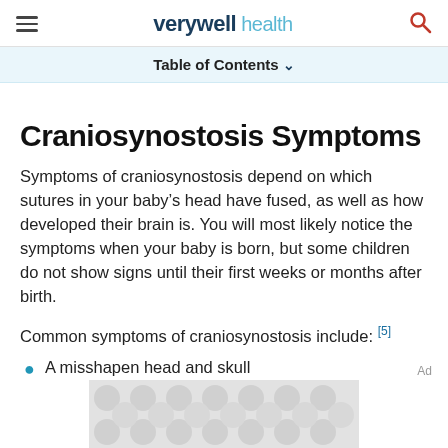verywell health
Table of Contents
Craniosynostosis Symptoms
Symptoms of craniosynostosis depend on which sutures in your baby's head have fused, as well as how developed their brain is. You will most likely notice the symptoms when your baby is born, but some children do not show signs until their first weeks or months after birth.
Common symptoms of craniosynostosis include: [5]
A misshapen head and skull